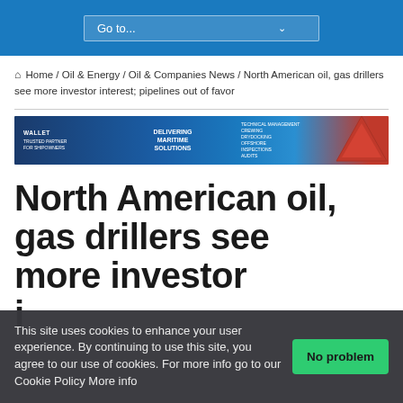Go to...
Home / Oil & Energy / Oil & Companies News / North American oil, gas drillers see more investor interest; pipelines out of favor
[Figure (other): Advertisement banner for maritime solutions company, blue background with diamond shape in center reading 'Delivering Maritime Solutions', text on left reads 'Trusted Partner for Shipowners', right side has red triangle graphic and technical/crewing services listed]
North American oil, gas drillers see more investor interest;
This site uses cookies to enhance your user experience. By continuing to use this site, you agree to our use of cookies. For more info go to our Cookie Policy More info